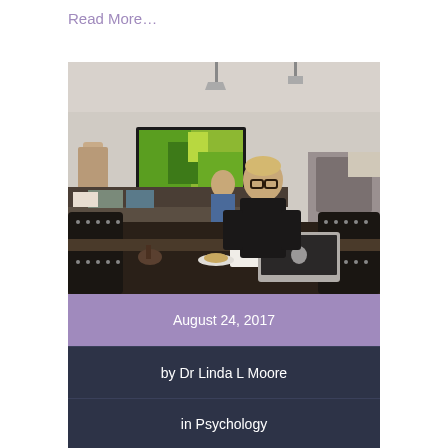Read More...
[Figure (photo): A woman with glasses working on a laptop at a counter/bar table in a cafe or hotel lounge. In the background is a colorful abstract painting (green and yellow), a sofa with cushions, and another person seated. A coffee cup and pastry are on the table in front of her.]
August 24, 2017
by Dr Linda L Moore
in Psychology